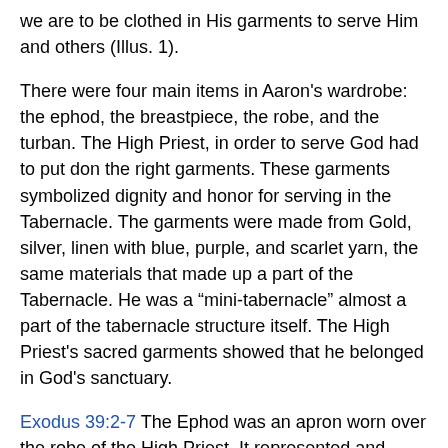we are to be clothed in His garments to serve Him and others (Illus. 1).
There were four main items in Aaron's wardrobe: the ephod, the breastpiece, the robe, and the turban. The High Priest, in order to serve God had to put don the right garments. These garments symbolized dignity and honor for serving in the Tabernacle. The garments were made from Gold, silver, linen with blue, purple, and scarlet yarn, the same materials that made up a part of the Tabernacle. He was a “mini-tabernacle” almost a part of the tabernacle structure itself. The High Priest's sacred garments showed that he belonged in God's sanctuary.
Exodus 39:2-7 The Ephod was an apron worn over the robe of the High Priest. It represented and carried the names of God's people before the Lord. God created and chose Israel through Abraham to be His witnesses to a lost world. The ephod was made of blue, purple and scarlet yarn and fine linen, thin sheets of gold were cut